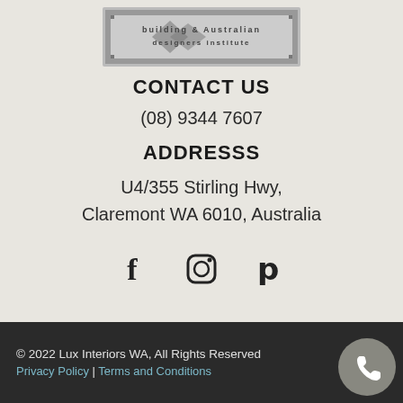[Figure (logo): KBDi building and design institute logo, rectangular with pixelated/mosaic style text and border]
CONTACT US
(08) 9344 7607
ADDRESSS
U4/355 Stirling Hwy,
Claremont WA 6010, Australia
[Figure (illustration): Social media icons: Facebook (f), Instagram (camera), Pinterest (P)]
© 2022 Lux Interiors WA, All Rights Reserved
Privacy Policy | Terms and Conditions